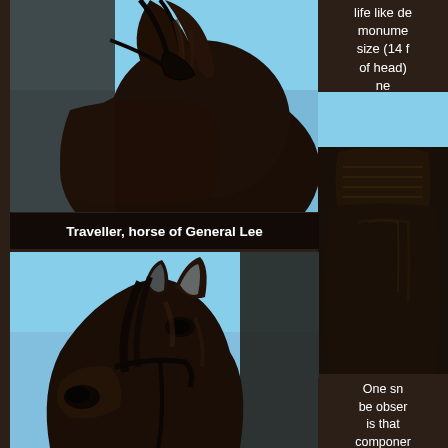[Figure (photo): Close-up photo of a dark bronze horse statue (Traveller), showing the neck and chest area with bridle, against a blue sky background]
[Figure (photo): Partial view of a statue figure, likely General Lee on horseback, showing the torso and saddle area in dark bronze against blue sky]
life like de monume size (14 f of head) ne
Traveller, horse of General Lee
[Figure (photo): Close-up photo of the bronze horse head (Traveller) looking upward against blue sky, showing detailed sculptural work of ears, nose, and mane]
One sn be obser is that component